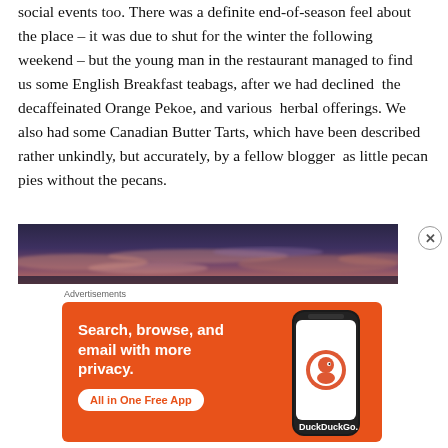social events too. There was a definite end-of-season feel about the place – it was due to shut for the winter the following weekend – but the young man in the restaurant managed to find us some English Breakfast teabags, after we had declined  the decaffeinated Orange Pekoe, and various  herbal offerings. We also had some Canadian Butter Tarts, which have been described rather unkindly, but accurately, by a fellow blogger  as little pecan pies without the pecans.
[Figure (photo): A wide panoramic photo of a dramatic sky with purple and pink clouds at dusk or dawn.]
Advertisements
[Figure (screenshot): DuckDuckGo advertisement banner on orange background. Text: 'Search, browse, and email with more privacy. All in One Free App'. Shows a smartphone with DuckDuckGo logo.]